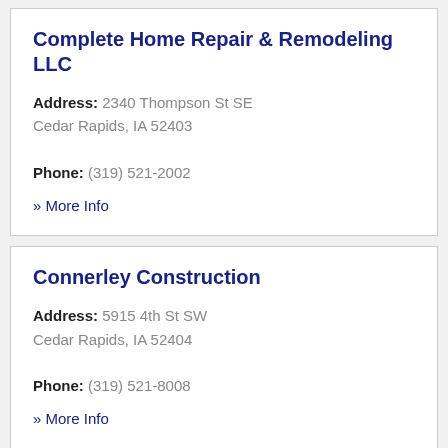Complete Home Repair & Remodeling LLC
Address: 2340 Thompson St SE Cedar Rapids, IA 52403
Phone: (319) 521-2002
» More Info
Connerley Construction
Address: 5915 4th St SW Cedar Rapids, IA 52404
Phone: (319) 521-8008
» More Info
Construction Materials Inc